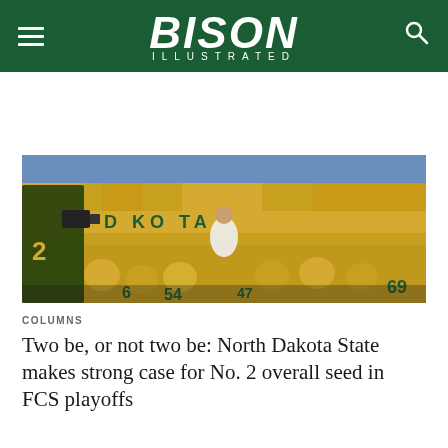BISON ILLUSTRATED
[Figure (photo): North Dakota State football players in yellow and green jerseys huddled on the field in a stadium with yellow-clad fans in the stands; a player wearing jersey #2 is visible on the left along with #69 on the right; the stadium wall reads 'TH D KOTA']
COLUMNS
Two be, or not two be: North Dakota State makes strong case for No. 2 overall seed in FCS playoffs